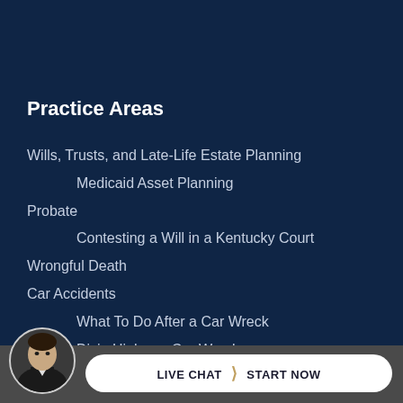Practice Areas
Wills, Trusts, and Late-Life Estate Planning
Medicaid Asset Planning
Probate
Contesting a Will in a Kentucky Court
Wrongful Death
Car Accidents
What To Do After a Car Wreck
Dixie Highway Car Wrecks
Large Trucking Accidents
What To Do After a Trucking Accident
Motorcycle Accidents
[Figure (photo): Circular avatar photo of a man in a suit, positioned in the bottom-left corner]
LIVE CHAT > START NOW